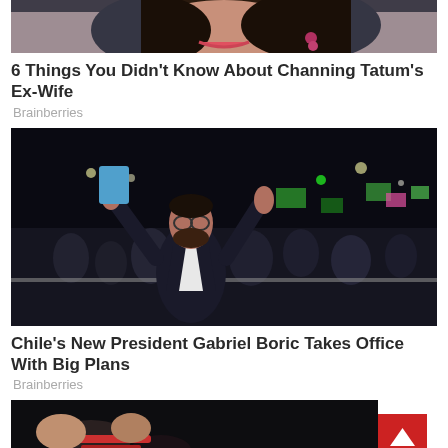[Figure (photo): Cropped photo of a woman smiling, dark hair, colorful earrings, visible at top of page]
6 Things You Didn't Know About Channing Tatum's Ex-Wife
Brainberries
[Figure (photo): Nighttime photo of Gabriel Boric raising his hands in front of a large crowd with green flags]
Chile's New President Gabriel Boric Takes Office With Big Plans
Brainberries
[Figure (photo): Partial photo at bottom of page, dark background with colorful elements visible]
[Figure (other): Red back-to-top button with upward arrow in bottom-right corner]